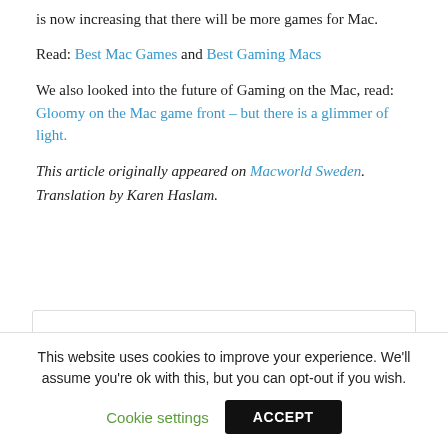is now increasing that there will be more games for Mac.
Read: Best Mac Games and Best Gaming Macs
We also looked into the future of Gaming on the Mac, read: Gloomy on the Mac game front – but there is a glimmer of light.
This article originally appeared on Macworld Sweden. Translation by Karen Haslam.
Locky · 761 Posts · 0 Comments
This website uses cookies to improve your experience. We'll assume you're ok with this, but you can opt-out if you wish. Cookie settings ACCEPT